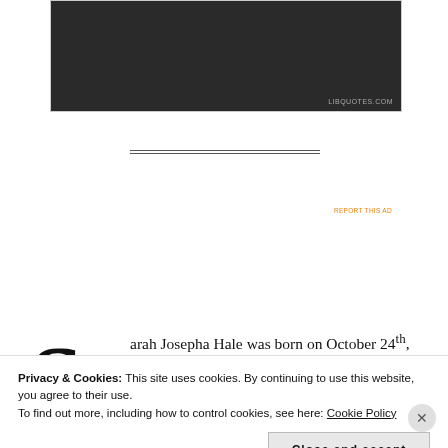[Figure (screenshot): Dark image block at top of page with watermark text LIBQUOTES.COM]
[Figure (screenshot): Advertisement banner for Day One journaling app on light blue background reading: The only journaling app you'll ever need.]
Sarah Josepha Hale was born on October 24th, 1788, in Newport, New Hampshire. Having a family that believed in education, Sarah was
Privacy & Cookies: This site uses cookies. By continuing to use this website, you agree to their use.
To find out more, including how to control cookies, see here: Cookie Policy
Close and accept